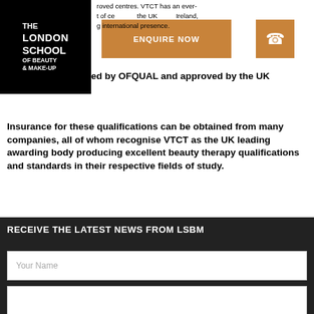[Figure (logo): The London School of Beauty & Make-Up logo — white text on black background]
roved centres. VTCT has an ever- t of ce the UK Ireland, g international presence.
cations are regulated by OFQUAL and approved by the UK Government.
Insurance for these qualifications can be obtained from many companies, all of whom recognise VTCT as the UK leading awarding body producing excellent beauty therapy qualifications and standards in their respective fields of study.
RECEIVE THE LATEST NEWS FROM LSBM